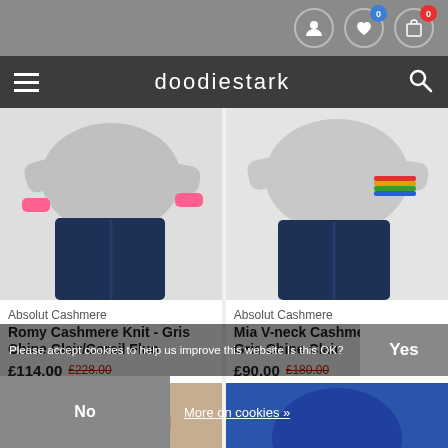doodiestark navigation bar with hamburger menu and search icon
[Figure (photo): Woman wearing gray cashmere knit with pink/coral cuffs and dark blue jeans]
[Figure (photo): Woman wearing gray V-neck cashmere knit with rainbow stripe detail and dark blue jeans]
Absolut Cashmere
Romy Cashmere Knit - Gris Chine Clair/Corail Fluo
£114.00  £228.00
Absolut Cashmere
Mia V-neck Cashmere Knit - Gris Chine Clair
£90.00  £180.00
[Figure (photo): Partial bottom product thumbnail - tan/beige color]
[Figure (photo): Partial bottom product thumbnail - blue sweater]
Please accept cookies to help us improve this website Is this OK?
Yes
No
More on cookies »